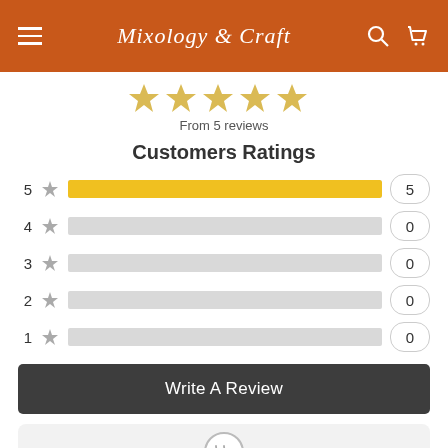Mixology & Craft
[Figure (other): Five gold star rating icons partially visible at top]
From 5 reviews
Customers Ratings
[Figure (bar-chart): Customers Ratings]
Write A Review
Jeremy Verified